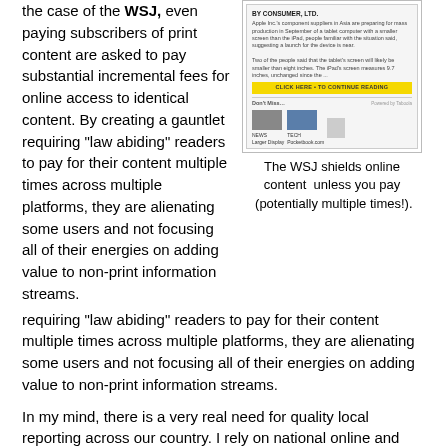the case of the WSJ, even paying subscribers of print content are asked to pay substantial incremental fees for online access to identical content. By creating a gauntlet requiring "law abiding" readers to pay for their content multiple times across multiple platforms, they are alienating some users and not focusing all of their energies on adding value to non-print information streams.
[Figure (screenshot): Screenshot of a WSJ article page showing a paywall/subscription prompt with a yellow 'CLICK HERE TO CONTINUE READING' button and a 'Don't Miss...' section below]
The WSJ shields online content  unless you pay  (potentially multiple times!).
In my mind, there is a very real need for quality local reporting across our country. I rely on national online and conventional sources, including the Wall Street Journal, for the bulk of my news but there are times when local events are so compelling I want to learn more. At these moments I am "forced" to rely on the sole remaining daily in this marketplace, The Tennessean. Candidly, I don't think this publication is particularly great in terms of coverage, fairness, or layout, but it is the sole remaining daily "voice" in